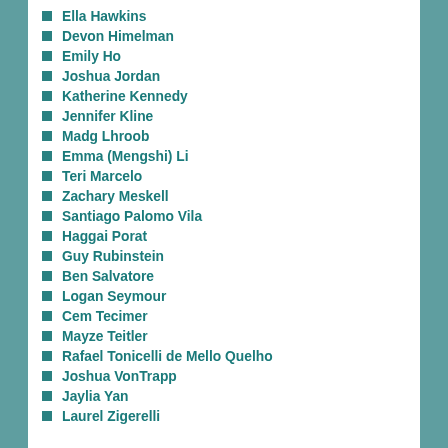Ella Hawkins
Devon Himelman
Emily Ho
Joshua Jordan
Katherine Kennedy
Jennifer Kline
Madg Lhroob
Emma (Mengshi) Li
Teri Marcelo
Zachary Meskell
Santiago Palomo Vila
Haggai Porat
Guy Rubinstein
Ben Salvatore
Logan Seymour
Cem Tecimer
Mayze Teitler
Rafael Tonicelli de Mello Quelho
Joshua VonTrapp
Jaylia Yan
Laurel Zigerelli